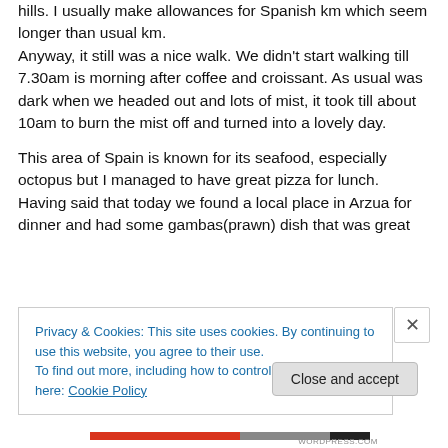hills. I usually make allowances for Spanish km which seem longer than usual km. Anyway, it still was a nice walk. We didn't start walking till 7.30am is morning after coffee and croissant. As usual was dark when we headed out and lots of mist, it took till about 10am to burn the mist off and turned into a lovely day.
This area of Spain is known for its seafood, especially octopus but I managed to have great pizza for lunch. Having said that today we found a local place in Arzua for dinner and had some gambas(prawn) dish that was great
Privacy & Cookies: This site uses cookies. By continuing to use this website, you agree to their use.
To find out more, including how to control cookies, see here: Cookie Policy
Close and accept